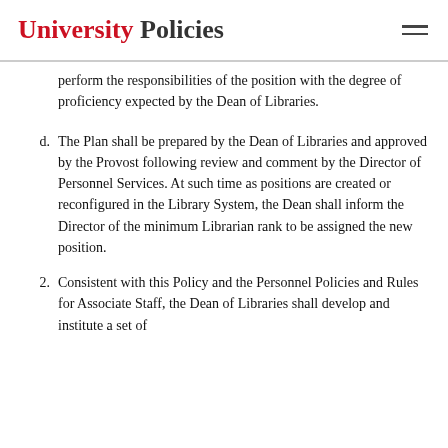University Policies
perform the responsibilities of the position with the degree of proficiency expected by the Dean of Libraries.
d. The Plan shall be prepared by the Dean of Libraries and approved by the Provost following review and comment by the Director of Personnel Services. At such time as positions are created or reconfigured in the Library System, the Dean shall inform the Director of the minimum Librarian rank to be assigned the new position.
2. Consistent with this Policy and the Personnel Policies and Rules for Associate Staff, the Dean of Libraries shall develop and institute a set of